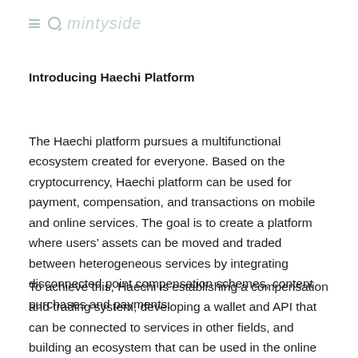mintyside
Introducing Haechi Platform
The Haechi platform pursues a multifunctional ecosystem created for everyone. Based on the cryptocurrency, Haechi platform can be used for payment, compensation, and transactions on mobile and online services. The goal is to create a platform where users’ assets can be moved and traded between heterogeneous services by integrating disconnected point compensation schemes, content purchases and payments.
To achieve this, Haechi is establishing a compensation and trading system, developing a wallet and API that can be connected to services in other fields, and building an ecosystem that can be used in the online real economy to promote the usability, connectivity, and sustainability of